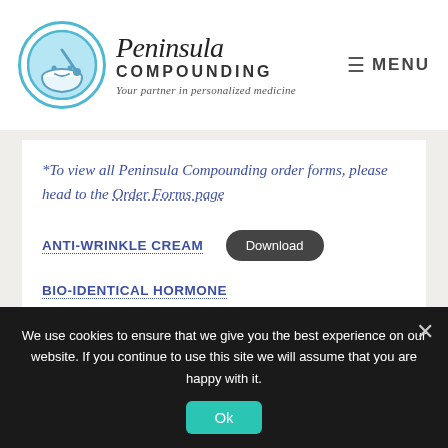[Figure (logo): Peninsula Compounding logo with mortar and pestle icon, text 'Peninsula COMPOUNDING Your partner in personalized medicine']
≡ MENU
*To view all Peninsula Compounding order forms, please head to the Order Forms page
ANTI-WRINKLE CREAM  [Download]
BIO-IDENTICAL HORMONE  [Download]
We use cookies to ensure that we give you the best experience on our website. If you continue to use this site we will assume that you are happy with it.  [Ok]